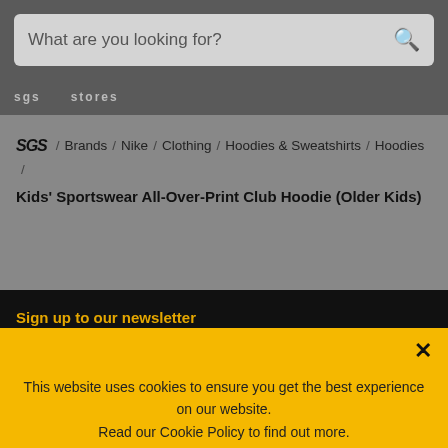[Figure (screenshot): Search bar with placeholder text 'What are you looking for?' and a search icon on the right]
SGS / Brands / ...
SGS / Brands / Nike / Clothing / Hoodies & Sweatshirts / Hoodies / Kids' Sportswear All-Over-Print Club Hoodie (Older Kids)
Sign up to our newsletter
This website uses cookies to ensure you get the best experience on our website.
Read our Cookie Policy to find out more.
I AGREE